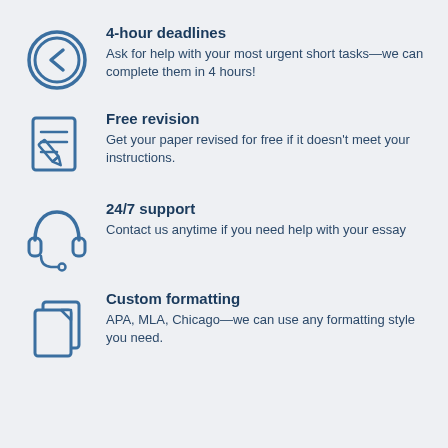4-hour deadlines
Ask for help with your most urgent short tasks—we can complete them in 4 hours!
Free revision
Get your paper revised for free if it doesn't meet your instructions.
24/7 support
Contact us anytime if you need help with your essay
Custom formatting
APA, MLA, Chicago—we can use any formatting style you need.